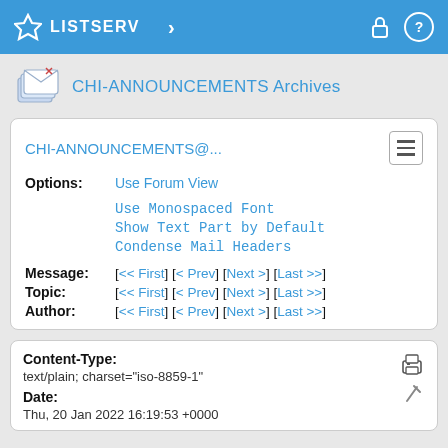LISTSERV
CHI-ANNOUNCEMENTS Archives
CHI-ANNOUNCEMENTS@...
Options: Use Forum View
Use Monospaced Font
Show Text Part by Default
Condense Mail Headers
Message: [<< First] [< Prev] [Next >] [Last >>]
Topic: [<< First] [< Prev] [Next >] [Last >>]
Author: [<< First] [< Prev] [Next >] [Last >>]
Content-Type:
text/plain; charset="iso-8859-1"
Date:
Thu, 20 Jan 2022 16:19:53 +0000